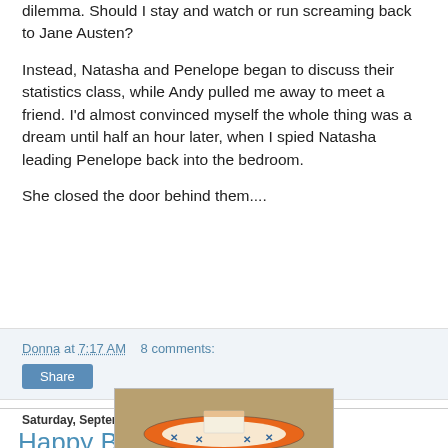dilemma. Should I stay and watch or run screaming back to Jane Austen?
Instead, Natasha and Penelope began to discuss their statistics class, while Andy pulled me away to meet a friend. I'd almost convinced myself the whole thing was a dream until half an hour later, when I spied Natasha leading Penelope back into the bedroom.
She closed the door behind them....
Donna at 7:17 AM    8 comments:
Share
Saturday, September 11, 2010
Happy Birthday, Danielle!
[Figure (photo): A cake on a decorative plate with an orange and blue patterned rim, on a tan/beige background.]